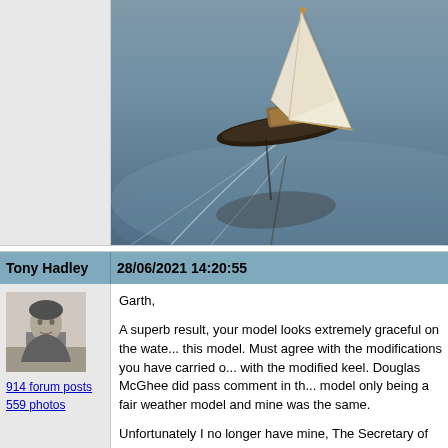[Figure (photo): Model sailboat on water with white sail and reflection, photographed from above/side angle]
Tony Hadley
28/06/2021 14:20:55
[Figure (photo): Black and white avatar photo of a person]
914 forum posts
559 photos
Garth,

A superb result, your model looks extremely graceful on the water. this model. Must agree with the modifications you have carried o... with the modified keel. Douglas McGhee did pass comment in th... model only being a fair weather model and mine was the same.

Unfortunately I no longer have mine, The Secretary of the local m... exhibiting it at shows before Covid appeared.

Douglas later built a slightly larger version with a schooner rig.

At the end of the magazine article Douglas's comment reads - "F... weather yacht, so look out for your 1920s style striped blazer a...